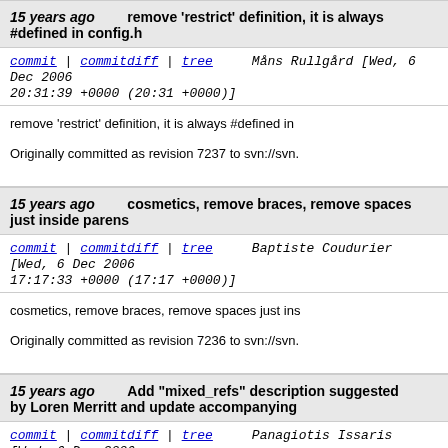15 years ago   remove 'restrict' definition, it is always #defined in config.h
commit | commitdiff | tree   Måns Rullgård [Wed, 6 Dec 2006 20:31:39 +0000 (20:31 +0000)]
remove 'restrict' definition, it is always #defined in

Originally committed as revision 7237 to svn://svn.
15 years ago   cosmetics, remove braces, remove spaces just inside parens
commit | commitdiff | tree   Baptiste Coudurier [Wed, 6 Dec 2006 17:17:33 +0000 (17:17 +0000)]
cosmetics, remove braces, remove spaces just ins

Originally committed as revision 7236 to svn://svn.
15 years ago   Add "mixed_refs" description suggested by Loren Merritt and update accompanying
commit | commitdiff | tree   Panagiotis Issaris [Wed, 6 Dec 2006 17:04:23 +0000 (17:04 +0000)]
Add "mixed_refs" description suggested by Loren comment in the code.